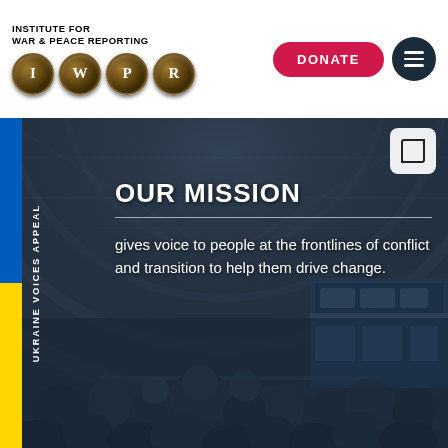INSTITUTE FOR WAR & PEACE REPORTING
[Figure (logo): IWPR logo with four gold circles containing letters I, W, P, R]
[Figure (other): DONATE button in red and hamburger menu icon in dark navy circle]
[Figure (photo): Crowded train station scene with people evacuating, overlaid with dark blue tint. Large arched iron and glass roof structure visible. Blue and yellow trains on the right.]
OUR MISSION
UKRAINE VOICES APPEAL
gives voice to people at the frontlines of conflict and transition to help them drive change.